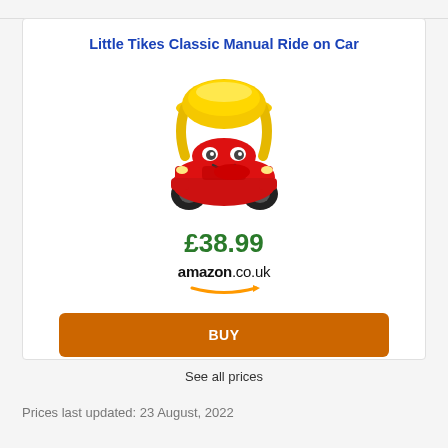Little Tikes Classic Manual Ride on Car
[Figure (photo): Little Tikes Classic Cozy Coupe Manual Ride on Car - red and yellow plastic ride-on toy car with smiley face, yellow roof, red body, and black wheels]
£38.99
[Figure (logo): Amazon.co.uk logo with orange arrow underneath]
BUY
See all prices
Prices last updated: 23 August, 2022